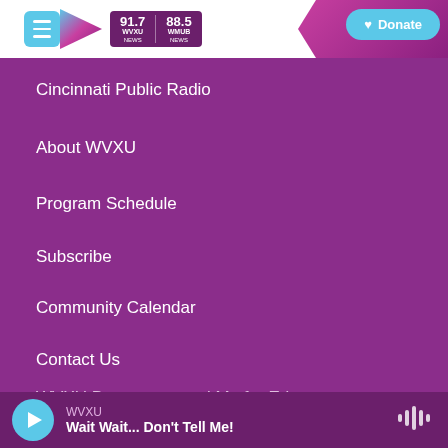[Figure (screenshot): WVXU Cincinnati Public Radio app header with hamburger menu, logo showing 91.7 WVXU NEWS and 88.5 WHUR NEWS, and a cyan Donate button on purple background]
Cincinnati Public Radio
About WVXU
Program Schedule
Subscribe
Community Calendar
Contact Us
WVXU Democracy and Me for Educators
Privacy Policy and Terms of Use
FCC Public Inspection File: 88.5 WMUB
WVXU — Wait Wait... Don't Tell Me!